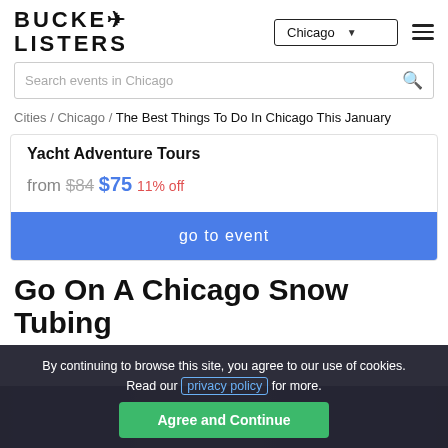BUCKET LISTERS — Chicago
Search events in Chicago
Cities / Chicago / The Best Things To Do In Chicago This January
Yacht Adventure Tours
from $84 $75 11% off
go to event
Go On A Chicago Snow Tubing
By continuing to browse this site, you agree to our use of cookies. Read our privacy policy for more.
Agree and Continue